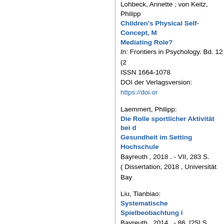Lohbeck, Annette ; von Keitz, Philipp
Children's Physical Self-Concept, Mediating Role?
In: Frontiers in Psychology. Bd. 12 (20... ISSN 1664-1078
DOI der Verlagsversion: https://doi.or...
Laemmert, Philipp:
Die Rolle sportlicher Aktivität bei d... Gesundheit im Setting Hochschule...
Bayreuth , 2018 . - VII, 283 S.
( Dissertation, 2018 , Universität Bay...
Liu, Tianbiao:
Systematische Spielbeobachtung i...
Bayreuth , 2014 . - 86, [25] S.
( Dissertation, 2014 , Universität Bay...
M
Mancera-Soto, Erica ; Ramos-Caball... Cristancho-Mejia, Edgar:
Quantification of testosterone-dep...
In: Experimental Physiology. Bd. 106 ... ISSN 1469-445X
DOI der Verlagsversion: https://doi.or...